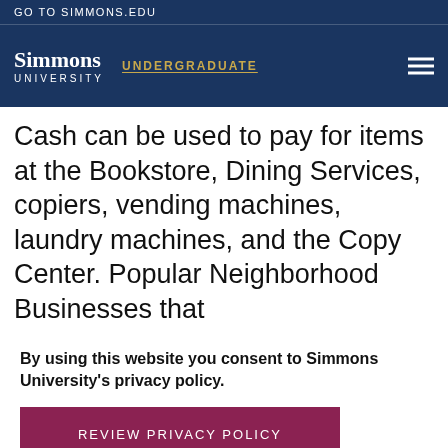GO TO SIMMONS.EDU
[Figure (logo): Simmons University logo with UNDERGRADUATE label and hamburger menu on dark navy background]
Cash can be used to pay for items at the Bookstore, Dining Services, copiers, vending machines, laundry machines, and the Copy Center. Popular Neighborhood Businesses that
By using this website you consent to Simmons University's privacy policy.
REVIEW PRIVACY POLICY
DISMISS